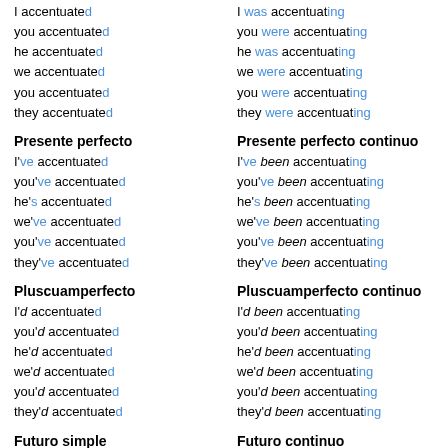I accentuated / you accentuated / he accentuated / we accentuated / you accentuated / they accentuated
I was accentuating / you were accentuating / he was accentuating / we were accentuating / you were accentuating / they were accentuating
Presente perfecto
Presente perfecto continuo
I've accentuated / you've accentuated / he's accentuated / we've accentuated / you've accentuated / they've accentuated
I've been accentuating / you've been accentuating / he's been accentuating / we've been accentuating / you've been accentuating / they've been accentuating
Pluscuamperfecto
Pluscuamperfecto continuo
I'd accentuated / you'd accentuated / he'd accentuated / we'd accentuated / you'd accentuated / they'd accentuated
I'd been accentuating / you'd been accentuating / he'd been accentuating / we'd been accentuating / you'd been accentuating / they'd been accentuating
Futuro simple
Futuro continuo
I'll accentuate / you'll accentuate / he'll accentuate
I'll be accentuating / you'll be accentuating / he'll be accentuating